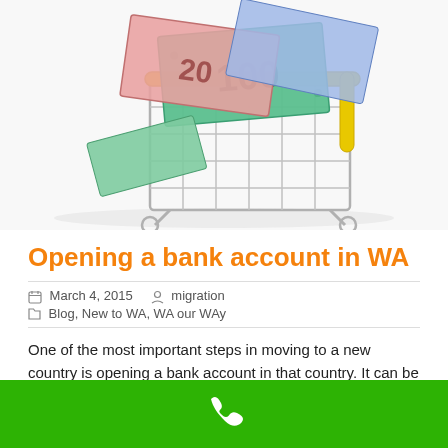[Figure (photo): Shopping cart filled with Australian dollar banknotes including $100 bills, on white background]
Opening a bank account in WA
March 4, 2015   migration
Blog, New to WA, WA our WAy
One of the most important steps in moving to a new country is opening a bank account in that country. It can be very confusing and the system may be very different to what you are used to. Here
[Figure (other): Green footer bar with white telephone/phone icon]